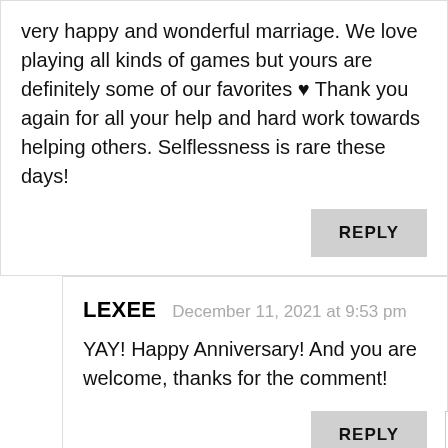very happy and wonderful marriage. We love playing all kinds of games but yours are definitely some of our favorites ♥ Thank you again for all your help and hard work towards helping others. Selflessness is rare these days!
REPLY
LEXEE   December 11, 2021 at 9:53 pm
YAY! Happy Anniversary! And you are welcome, thanks for the comment!
REPLY